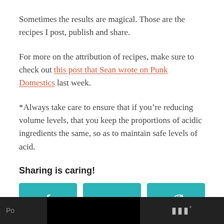Sometimes the results are magical. Those are the recipes I post, publish and share.
For more on the attribution of recipes, make sure to check out this post that Sean wrote on Punk Domestics last week.
*Always take care to ensure that if you’re reducing volume levels, that you keep the proportions of acidic ingredients the same, so as to maintain safe levels of acid.
Sharing is caring!
[Figure (other): Three teal social sharing buttons: Facebook (f icon), Twitter (bird icon), Pinterest (P icon)]
Po | www°